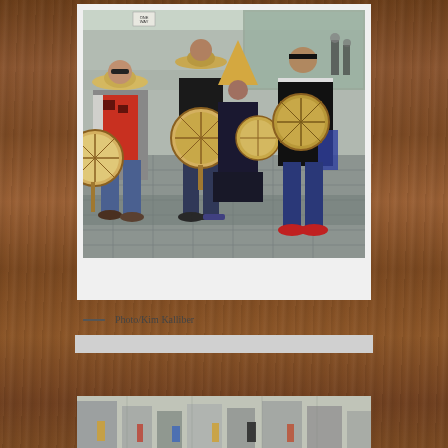[Figure (photo): Four Indigenous people wearing traditional woven cedar hats and regalia, holding large circular hand drums, standing on a paved urban plaza. One person wears a red patterned vest, others wear black traditional garments. Buildings and street signage visible in background.]
— Photo/Kim Kalliber
[Figure (photo): Partial view of a second photograph at the bottom of the page, showing what appears to be an urban or event scene, partially cropped.]